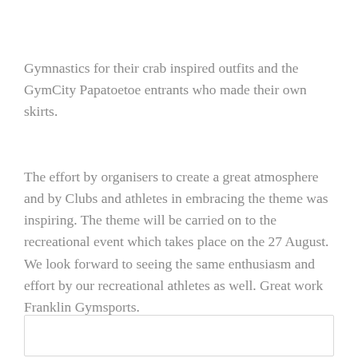Gymnastics for their crab inspired outfits and the GymCity Papatoetoe entrants who made their own skirts.
The effort by organisers to create a great atmosphere and by Clubs and athletes in embracing the theme was inspiring. The theme will be carried on to the recreational event which takes place on the 27 August. We look forward to seeing the same enthusiasm and effort by our recreational athletes as well. Great work Franklin Gymsports.
[Figure (other): Empty bordered box at the bottom of the page]